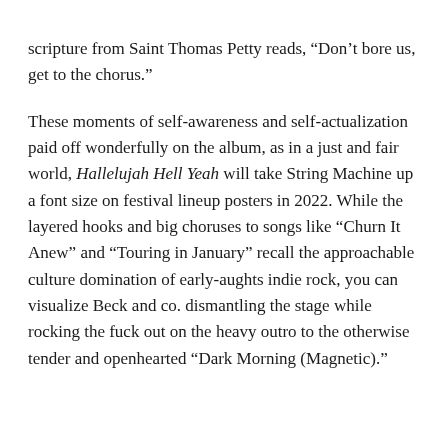scripture from Saint Thomas Petty reads, “Don’t bore us, get to the chorus.”
These moments of self-awareness and self-actualization paid off wonderfully on the album, as in a just and fair world, Hallelujah Hell Yeah will take String Machine up a font size on festival lineup posters in 2022. While the layered hooks and big choruses to songs like “Churn It Anew” and “Touring in January” recall the approachable culture domination of early-aughts indie rock, you can visualize Beck and co. dismantling the stage while rocking the fuck out on the heavy outro to the otherwise tender and openhearted “Dark Morning (Magnetic).”